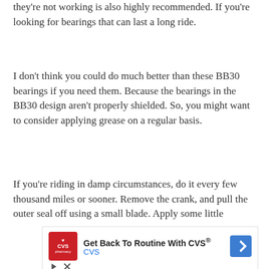they're not working is also highly recommended. If you're looking for bearings that can last a long ride.
I don't think you could do much better than these BB30 bearings if you need them. Because the bearings in the BB30 design aren't properly shielded. So, you might want to consider applying grease on a regular basis.
If you're riding in damp circumstances, do it every few thousand miles or sooner. Remove the crank, and pull the outer seal off using a small blade. Apply some little
[Figure (other): CVS advertisement banner: 'Get Back To Routine With CVS®' with CVS pharmacy logo and navigation arrow icon, plus play and close control buttons.]